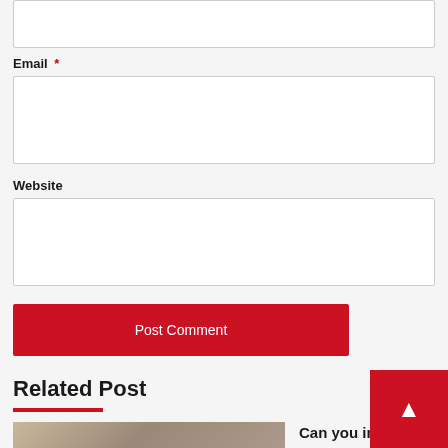Email *
Website
Post Comment
Related Post
Can you improve your mental health by attending depression chat rooms?